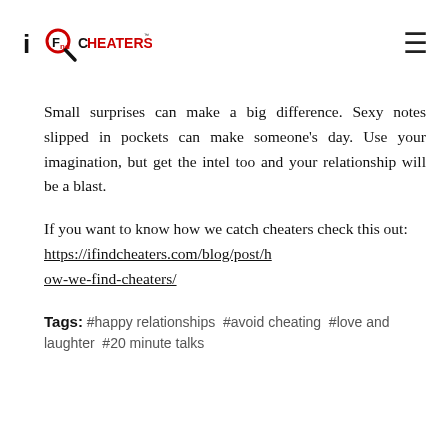iFind Cheaters [logo] [hamburger menu]
Small surprises can make a big difference. Sexy notes slipped in pockets can make someone’s day. Use your imagination, but get the intel too and your relationship will be a blast.
If you want to know how we catch cheaters check this out: https://ifindcheaters.com/blog/post/how-we-find-cheaters/
Tags: #happy relationships #avoid cheating #love and laughter #20 minute talks